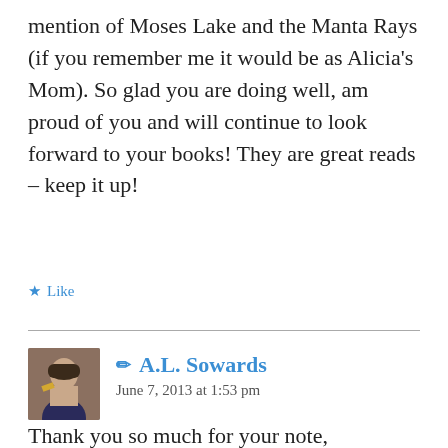mention of Moses Lake and the Manta Rays (if you remember me it would be as Alicia's Mom). So glad you are doing well, am proud of you and will continue to look forward to your books! They are great reads – keep it up!
★ Like
A.L. Sowards
June 7, 2013 at 1:53 pm
Thank you so much for your note, Melodie! I'm so glad you enjoyed